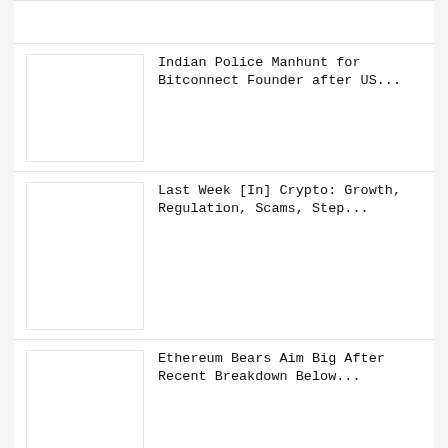Indian Police Manhunt for Bitconnect Founder after US...
Last Week [In] Crypto: Growth, Regulation, Scams, Step...
Ethereum Bears Aim Big After Recent Breakdown Below...